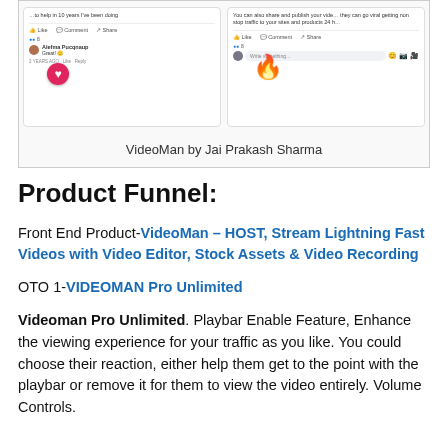[Figure (screenshot): Screenshot of Facebook posts/comments showing social proof for VideoMan, with a heart reaction icon and fire emoji overlay. Caption reads: VideoMan by Jai Prakash Sharma]
VideoMan by Jai Prakash Sharma
Product Funnel:
Front End Product-VideoMan – HOST, Stream Lightning Fast Videos with Video Editor, Stock Assets & Video Recording
OTO 1-VIDEOMAN Pro Unlimited
Videoman Pro Unlimited. Playbar Enable Feature, Enhance the viewing experience for your traffic as you like. You could choose their reaction, either help them get to the point with the playbar or remove it for them to view the video entirely. Volume Controls.